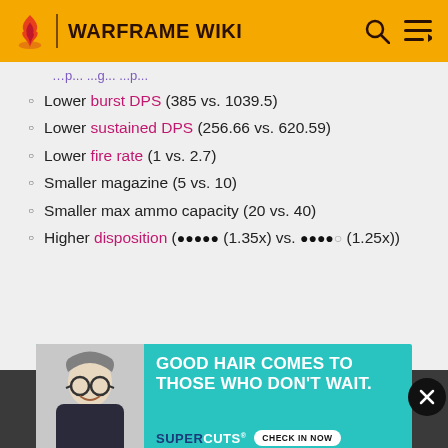WARFRAME WIKI
Lower burst DPS (385 vs. 1039.5)
Lower sustained DPS (256.66 vs. 620.59)
Lower fire rate (1 vs. 2.7)
Smaller magazine (5 vs. 10)
Smaller max ammo capacity (20 vs. 40)
Higher disposition (●●●●● (1.35x) vs. ●●●●○ (1.25x))
[Figure (photo): Advertisement banner for Supercuts showing a smiling man with glasses. Headline reads: GOOD HAIR COMES TO THOSE WHO DON'T WAIT. SUPERCUTS CHECK IN NOW]